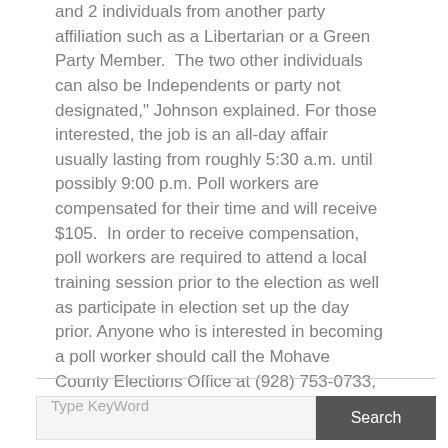and 2 individuals from another party affiliation such as a Libertarian or a Green Party Member.  The two other individuals can also be Independents or party not designated," Johnson explained. For those interested, the job is an all-day affair usually lasting from roughly 5:30 a.m. until possibly 9:00 p.m. Poll workers are compensated for their time and will receive $105.  In order to receive compensation, poll workers are required to attend a local training session prior to the election as well as participate in election set up the day prior. Anyone who is interested in becoming a poll worker should call the Mohave County Elections Office at (928) 753-0733, option 2, and ask for Nancy Krahulec. ###